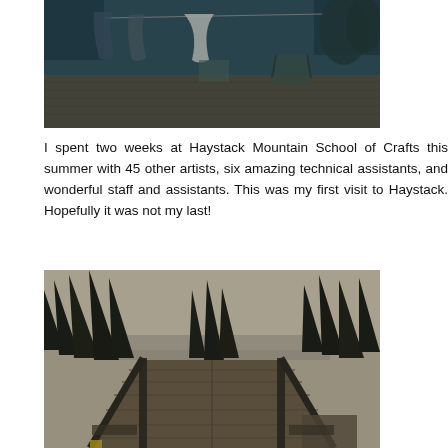[Figure (photo): Outdoor scene showing clothes hanging on a line on a wooden deck, with folding chairs and trees in the background, tinted teal/dark tone]
I spent two weeks at Haystack Mountain School of Crafts this summer with 45 other artists, six amazing technical assistants, and wonderful staff and assistants. This was my first visit to Haystack. Hopefully it was not my last!
[Figure (photo): Outdoor scene of a wooden deck/walkway leading toward a treeline with tall evergreen trees, overcast sky and water visible in background, sepia/dark tone]